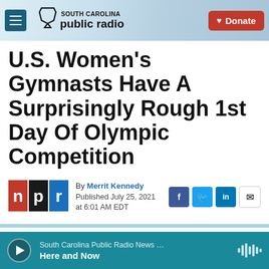South Carolina Public Radio — Donate
U.S. Women's Gymnasts Have A Surprisingly Rough 1st Day Of Olympic Competition
By Merrit Kennedy
Published July 25, 2021 at 6:01 AM EDT
[Figure (logo): NPR logo (red, black, blue squares with letters n, p, r)]
South Carolina Public Radio News … Here and Now